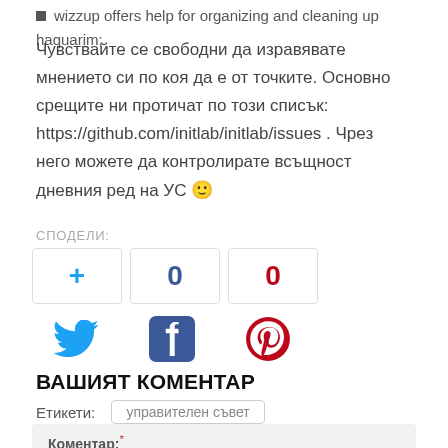wizzup offers help for organizing and cleaning up haquarim;
Чувствайте се свободни да изравявате мнението си по коя да е от точките. Основно срещите ни протичат по този списък: https://github.com/initlab/initlab/issues . Чрез него можете да контролирате всъщност дневния ред на УС 🙂
СПОДЕЛИ:
[Figure (infographic): Share buttons row: plus button (blue +), count button (0, dark blue), count button (0, red); below: Twitter bird icon, Facebook icon (dark blue box), Pinterest icon (red circle P)]
Етикети: управителен съвет
ВАШИЯТ КОМЕНТАР
Коментар: *